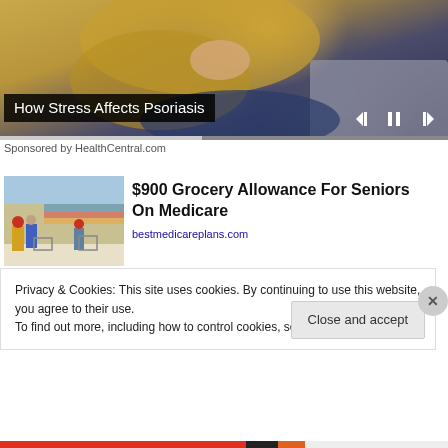[Figure (screenshot): Video player showing a person in a yellow sweater sitting on a couch, with playback controls (skip back, pause, skip forward) and a progress bar at the bottom.]
How Stress Affects Psoriasis
Sponsored by HealthCentral.com
[Figure (photo): Photo of people shopping in a grocery store, pushing carts down a crowded aisle with colorful store displays.]
$900 Grocery Allowance For Seniors On Medicare
bestmedicareplans.com
Privacy & Cookies: This site uses cookies. By continuing to use this website, you agree to their use.
To find out more, including how to control cookies, see here: Cookie Policy